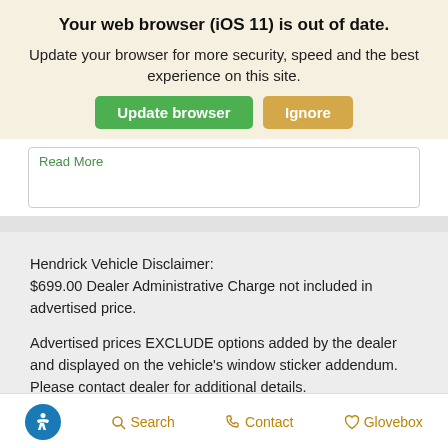Your web browser (iOS 11) is out of date.
Update your browser for more security, speed and the best experience on this site.
Update browser   Ignore
Read More
Hendrick Vehicle Disclaimer:
$699.00 Dealer Administrative Charge not included in advertised price.
Advertised prices EXCLUDE options added by the dealer and displayed on the vehicle's window sticker addendum. Please contact dealer for additional details.
[Accessibility icon]   Search   Contact   Glovebox